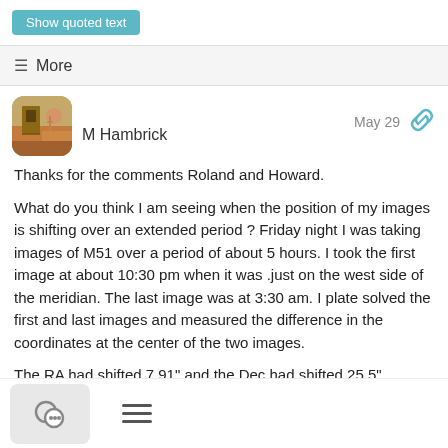Show quoted text
≡ More
[Figure (photo): User avatar photo of M Hambrick showing outdoor scene]
M Hambrick
May 29
Thanks for the comments Roland and Howard.
What do you think I am seeing when the position of my images is shifting over an extended period ? Friday night I was taking images of M51 over a period of about 5 hours. I took the first image at about 10:30 pm when it was .just on the west side of the meridian. The last image was at 3:30 am. I plate solved the first and last images and measured the difference in the coordinates at the center of the two images.
The RA had shifted 7.91" and the Dec had shifted 25.5"
Can this be explained by atmospheric refraction ?
[Figure (screenshot): Bottom navigation bar with comment bubble icon and hamburger menu icon]